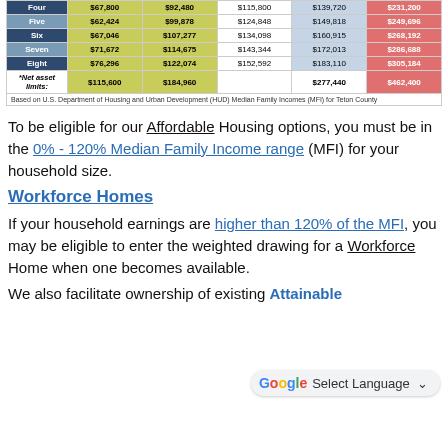|  | 30% | 80% | 100% | 120% | Over 120% |
| --- | --- | --- | --- | --- | --- |
| Four | $67,800 | $92,480 | $115,800 | $139,720 | $231,200 |
| Five | $62,424 | $99,878 | $124,848 | $149,818 | $249,696 |
| Six | $67,046 | $107,277 | $134,098 | $160,915 | $268,192 |
| Seven | $71,672 | $114,675 | $143,344 | $172,013 | $286,688 |
| Eight | $76,296 | $122,074 | $152,592 | $183,110 | $305,184 |
| *Net asset limits: | $115,600 | $184,960 |  | $277,440 | $462,400 |
To be eligible for our Affordable Housing options, you must be in the 0% - 120% Median Family Income range (MFI) for your household size.
Workforce Homes
If your household earnings are higher than 120% of the MFI, you may be eligible to enter the weighted drawing for a Workforce Home when one becomes available.
We also facilitate ownership of existing Attainable